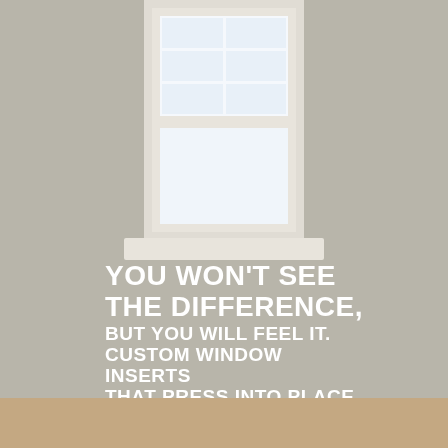[Figure (photo): Interior room photo showing a white double-hung window with grid panes at top, set against a warm gray/taupe wall. The window has a white painted wood frame and sill. Small decorative objects sit on the windowsill. The lower portion of the image shows a warm brown wood surface.]
YOU WON'T SEE THE DIFFERENCE, BUT YOU WILL FEEL IT. CUSTOM WINDOW INSERTS THAT PRESS INTO PLACE.